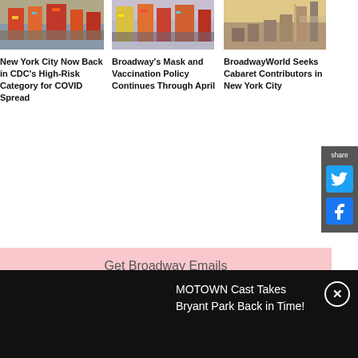[Figure (photo): Street view of Times Square NYC with lights and billboards]
New York City Now Back in CDC's High-Risk Category for COVID Spread
[Figure (photo): Times Square street scene with yellow taxis and Broadway signs]
Broadway's Mask and Vaccination Policy Continues Through April
[Figure (photo): New York City skyline with Empire State Building at dusk]
BroadwayWorld Seeks Cabaret Contributors in New York City
Get Broadway Emails
Get the latest news, discounts & more.
RECOMMENDED FOR YOU
MOTOWN Cast Takes Bryant Park Back in Time!